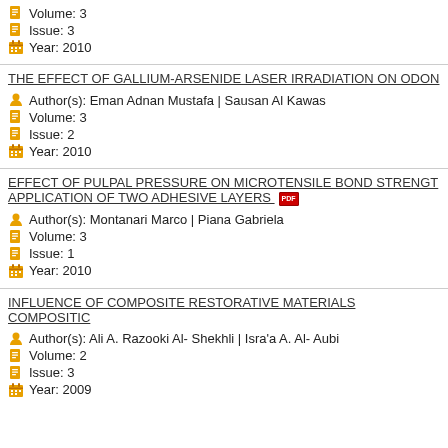Volume: 3
Issue: 3
Year: 2010
THE EFFECT OF GALLIUM-ARSENIDE LASER IRRADIATION ON ODON
Author(s): Eman Adnan Mustafa | Sausan Al Kawas
Volume: 3
Issue: 2
Year: 2010
EFFECT OF PULPAL PRESSURE ON MICROTENSILE BOND STRENGTH APPLICATION OF TWO ADHESIVE LAYERS
Author(s): Montanari Marco | Piana Gabriela
Volume: 3
Issue: 1
Year: 2010
INFLUENCE OF COMPOSITE RESTORATIVE MATERIALS COMPOSITIC
Author(s): Ali A. Razooki Al- Shekhli | Isra'a A. Al- Aubi
Volume: 2
Issue: 3
Year: 2009